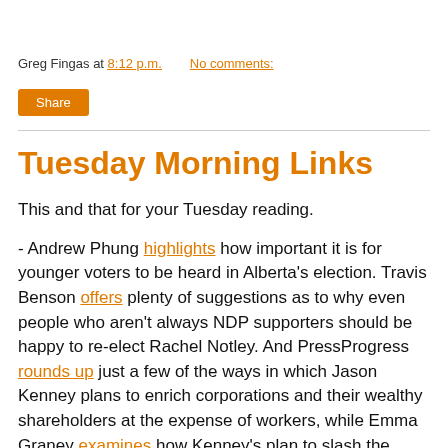Greg Fingas at 8:12 p.m.   No comments:
Share
Tuesday Morning Links
This and that for your Tuesday reading.
- Andrew Phung highlights how important it is for younger voters to be heard in Alberta's election. Travis Benson offers plenty of suggestions as to why even people who aren't always NDP supporters should be happy to re-elect Rachel Notley. And PressProgress rounds up just a few of the ways in which Jason Kenney plans to enrich corporations and their wealthy shareholders at the expense of workers, while Emma Graney examines how Kenney's plan to slash the minimum wage for younger workers has done nothing but undercut wage rates when applied elsewhere.